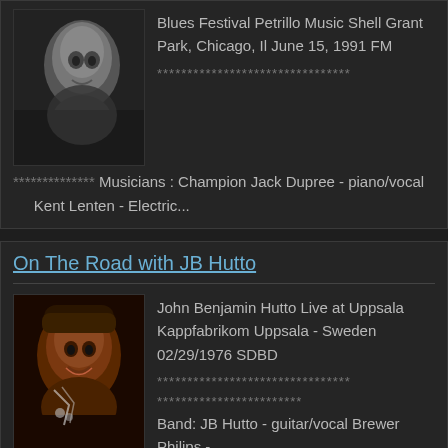[Figure (photo): Black and white close-up photo of a Black man smoking]
Blues Festival Petrillo Music Shell Grant Park, Chicago, Il June 15, 1991 FM
******************************** ************** Musicians : Champion Jack Dupree - piano/vocal      Kent Lenten - Electric...
On The Road with JB Hutto
[Figure (photo): Color photo of a Black man wearing a hat, singing or performing]
John Benjamin Hutto Live at Uppsala  Kappfabrikom Uppsala - Sweden 02/29/1976 SDBD
******************************** ************************ Band: JB Hutto - guitar/vocal Brewer Philips - bass Ted Harvey -...